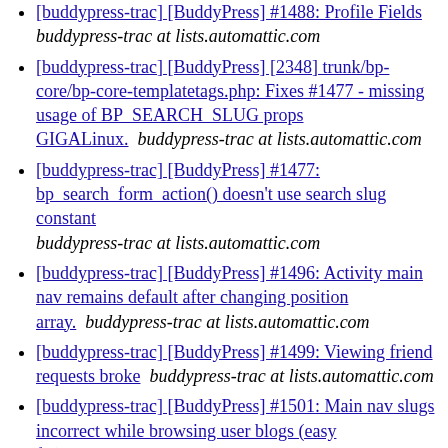[buddypress-trac] [BuddyPress] #1488: Profile Fields buddypress-trac at lists.automattic.com
[buddypress-trac] [BuddyPress] [2348] trunk/bp-core/bp-core-templatetags.php: Fixes #1477 - missing usage of BP_SEARCH_SLUG props GIGALinux. buddypress-trac at lists.automattic.com
[buddypress-trac] [BuddyPress] #1477: bp_search_form_action() doesn't use search slug constant buddypress-trac at lists.automattic.com
[buddypress-trac] [BuddyPress] #1496: Activity main nav remains default after changing position array. buddypress-trac at lists.automattic.com
[buddypress-trac] [BuddyPress] #1499: Viewing friend requests broke buddypress-trac at lists.automattic.com
[buddypress-trac] [BuddyPress] #1501: Main nav slugs incorrect while browsing user blogs (easy fix) buddypress-trac at lists.automattic.com
[buddypress-trac] [BuddyPress] #1504: Local avatar links incorrect, sub-directory install buddypress-trac at lists.automattic.com
[buddypress-trac] [BuddyPress] [2349] trunk/bp-core/bp-core-wpabstraction.php: Removing redundant site_option declarations since they already exist in single WP. buddypress-trac at lists.automattic.com
[buddypress-trac] [BuddyPress] #1506: remove site_option function wrappers buddypress-trac at lists.automattic.com